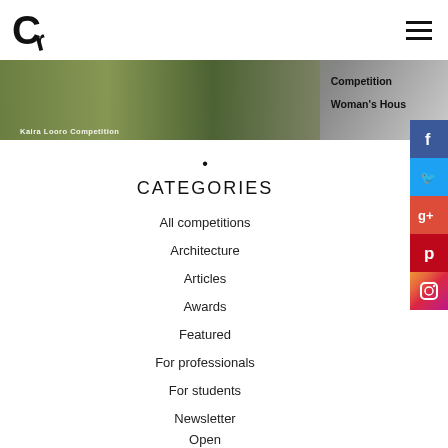Logo | Hamburger menu
[Figure (photo): Banner image of a landscape/outdoor scene with text 'Kaira Looro Competition' overlaid. Right side shows menu links: Competition, Woman's House]
[Figure (infographic): Social media sidebar icons: Facebook (blue), Twitter (blue), Google+ (red), Pinterest (red/pink), Instagram (gradient)]
•
CATEGORIES
All competitions
Architecture
Articles
Awards
Featured
For professionals
For students
Newsletter
Open